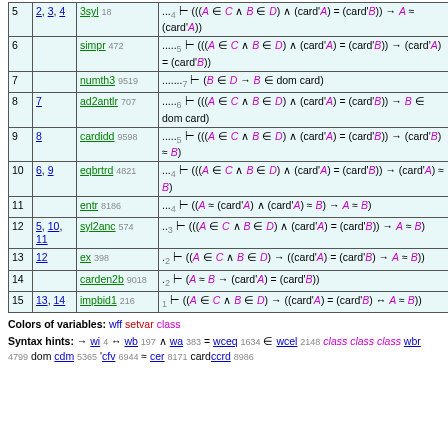| # | Hyp | Ref | Expression |
| --- | --- | --- | --- |
| 5 | 2, 3, 4 | 3syl 18 | ...4 ⊢ (((A ∈ C ∧ B ∈ D) ∧ (card'A) = (card'B)) → A ≈ (card'A)) |
| 6 |  | simpr 472 | .....5 ⊢ (((A ∈ C ∧ B ∈ D) ∧ (card'A) = (card'B)) → (card'A) = (card'B)) |
| 7 |  | numth3 9519 | .......7 ⊢ (B ∈ D → B ∈ dom card) |
| 8 | 7 | ad2antlr 707 | .....6 ⊢ (((A ∈ C ∧ B ∈ D) ∧ (card'A) = (card'B)) → B ∈ dom card) |
| 9 | 8 | cardidd 9598 | .....5 ⊢ (((A ∈ C ∧ B ∈ D) ∧ (card'A) = (card'B)) → (card'B) ≈ B) |
| 10 | 6, 9 | eqbrtrd 4821 | ...4 ⊢ (((A ∈ C ∧ B ∈ D) ∧ (card'A) = (card'B)) → (card'A) ≈ B) |
| 11 |  | entr 8186 | ...4 ⊢ ((A ≈ (card'A) ∧ (card'A) ≈ B) → A ≈ B) |
| 12 | 5, 10, 11 | syl2anc 574 | ..3 ⊢ (((A ∈ C ∧ B ∈ D) ∧ (card'A) = (card'B)) → A ≈ B) |
| 13 | 12 | ex 398 | .2 ⊢ ((A ∈ C ∧ B ∈ D) → ((card'A) = (card'B) → A ≈ B)) |
| 14 |  | carden2b 9018 | .2 ⊢ (A ≈ B → (card'A) = (card'B)) |
| 15 | 13, 14 | impbid1 216 | 1 ⊢ ((A ∈ C ∧ B ∈ D) → ((card'A) = (card'B) ↔ A ≈ B)) |
Colors of variables: wff setvar class
Syntax hints: → wi 4  ↔ wb 197  ∧ wa 383  = wceq 1634  ∈ wcel 2148  class class class wbr 4799  dom cdm 5365  'cfv 6944  ≈ cer 8171  cardccrd 8986